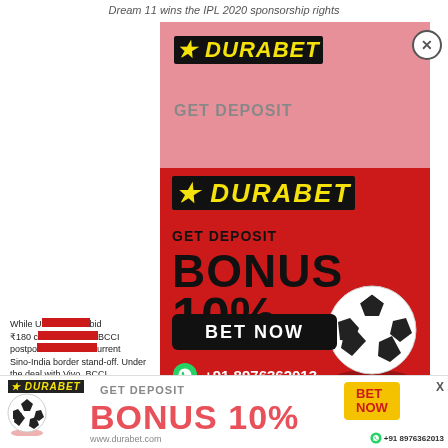Dream 11 wins the IPL 2020 sponsorship rights
[Figure (advertisement): Durabet sports betting advertisement popup on red background with BONUS 10% offer, BET NOW button, soccer ball, WhatsApp number +91 8976362013]
[Figure (advertisement): Background Durabet ad in pink/salmon showing GET DEPOSIT BONUS partially visible]
While U...bid ₹180 c...BCCI postpo...urrent Sino-India border stand-off. Under the deal with Vivo, BCCI
[Figure (advertisement): Bottom banner Durabet ad: GET DEPOSIT BONUS 10%, BET NOW button, www.durabet.com, WhatsApp +91 8976362013]